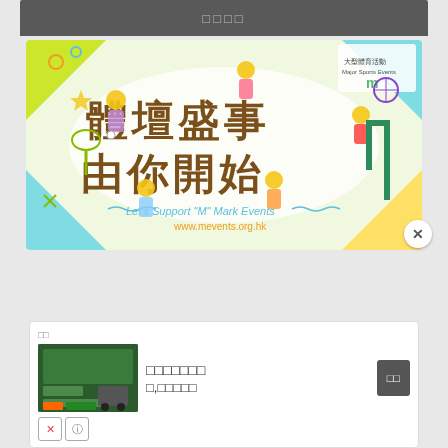□□□□
[Figure (illustration): Sports promotion banner with Chinese text '體壇盛事 由你開始' (Sports Extravaganza Starts With You) and English subtitle 'Let's Support "M" Mark Events' with URL www.mevents.org.hk. Features cartoon children playing various sports on a colorful background with green, yellow, blue and white geometric shapes. Major Sports Events logo in top right corner.]
□□
□□□□□□□
□,□□□□□
□□